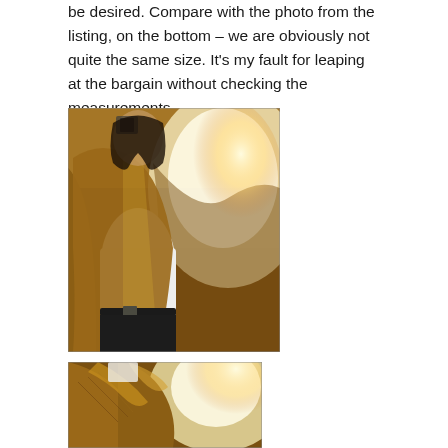be desired. Compare with the photo from the listing, on the bottom – we are obviously not quite the same size. It's my fault for leaping at the bargain without checking the measurements.
[Figure (photo): Mirror selfie of a person wearing an open brown suede/leather jacket over a white tank top and dark jeans with a belt. Warm backlight visible. Bedroom setting in background.]
[Figure (photo): Close-up photo of the brown jacket collar/lapel area, showing the texture of the jacket with warm light in background.]